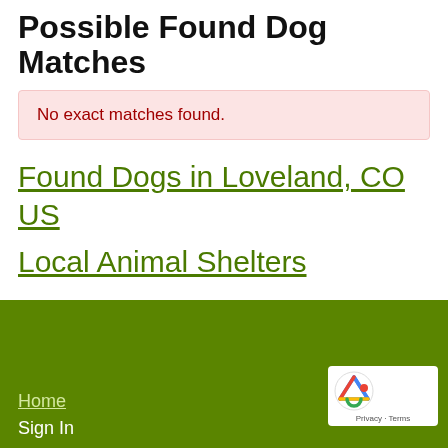Possible Found Dog Matches
No exact matches found.
Found Dogs in Loveland, CO US
Local Animal Shelters
Home
Sign In